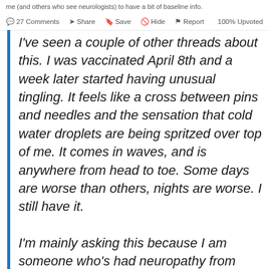me (and others who see neurologists) to have a bit of baseline info.
27 Comments  Share  Save  Hide  Report  100% Upvoted
I've seen a couple of other threads about this. I was vaccinated April 8th and a week later started having unusual tingling. It feels like a cross between pins and needles and the sensation that cold water droplets are being spritzed over top of me. It comes in waves, and is anywhere from head to toe. Some days are worse than others, nights are worse. I still have it.

I'm mainly asking this because I am someone who's had neuropathy from